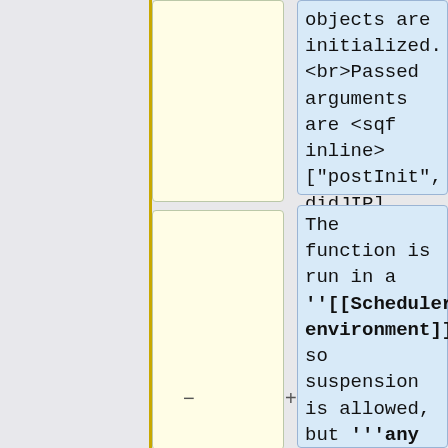objects are initialized. <br>Passed arguments are <sqf inline>["postInit", didJIP] </sqf>.
The function is run in a '''[[Scheduler#ScheduledEnvironment|scheduled environment]]]''' so suspension is allowed, but '''any long term